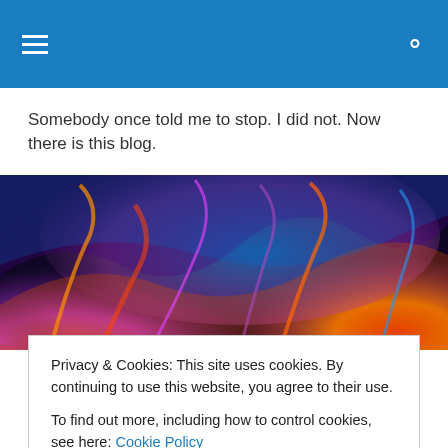Navigation bar with hamburger menu and search icon
Somebody once told me to stop. I did not. Now there is this blog.
[Figure (photo): Colorful abstract flame image with purple, orange, blue, and pink colors swirling]
Apocalypse Log: Part 3
Privacy & Cookies: This site uses cookies. By continuing to use this website, you agree to their use.
To find out more, including how to control cookies, see here: Cookie Policy
Close and accept